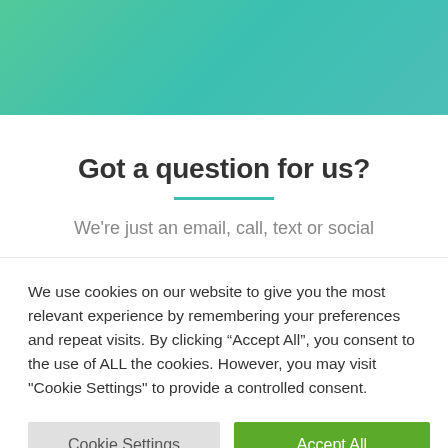[Figure (other): Teal/green gradient header banner]
Got a question for us?
We're just an email, call, text or social
We use cookies on our website to give you the most relevant experience by remembering your preferences and repeat visits. By clicking “Accept All”, you consent to the use of ALL the cookies. However, you may visit "Cookie Settings" to provide a controlled consent.
Cookie Settings | Accept All